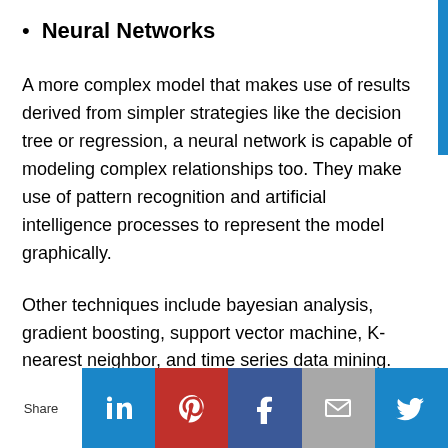Neural Networks
A more complex model that makes use of results derived from simpler strategies like the decision tree or regression, a neural network is capable of modeling complex relationships too. They make use of pattern recognition and artificial intelligence processes to represent the model graphically.
Other techniques include bayesian analysis, gradient boosting, support vector machine, K-nearest neighbor, and time series data mining.
Share [LinkedIn] [Pinterest] [Facebook] [Email] [Twitter]